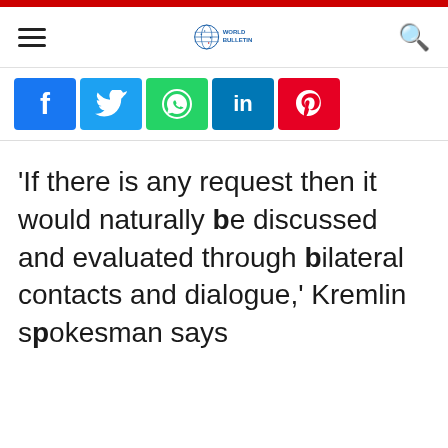World Bulletin - navigation header with hamburger menu, logo, and search icon
[Figure (logo): World Bulletin globe logo with text WORLD BULLETIN]
[Figure (infographic): Social media share buttons: Facebook, Twitter, WhatsApp, LinkedIn, Pinterest]
'If there is any request then it would naturally be discussed and evaluated through bilateral contacts and dialogue,' Kremlin spokesman says